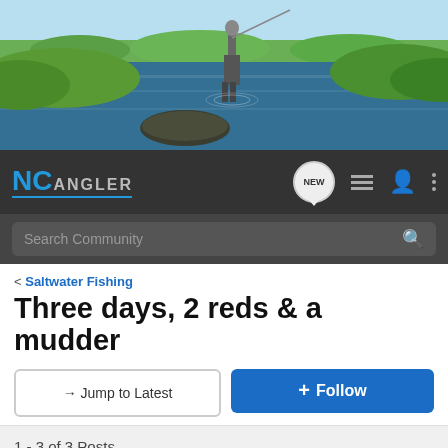[Figure (photo): Banner photo of a person fly fishing in a river, with green vegetation on the banks and blue sky in the background.]
NC ANGLER — Search Community [NEW] navigation icons
< Saltwater Fishing
Three days, 2 reds & a mudder
→ Jump to Latest   + Follow
1 - 3 of 3 Posts
challenger · Banned
Joined Nov 24, 2013 · 2,062 Posts